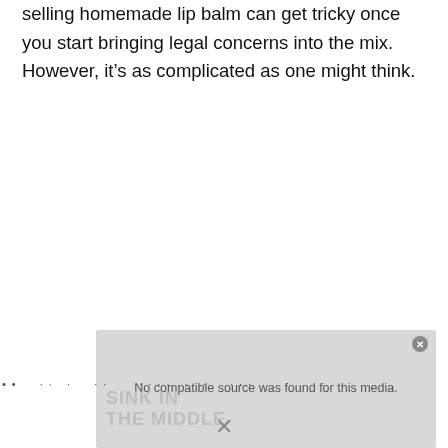selling homemade lip balm can get tricky once you start bringing legal concerns into the mix. However, it's as complicated as one might think.
[Figure (screenshot): Video player overlay showing 'No compatible source was found for this media.' message with a close button and partial text 'SINK IN THE MIDDLE' visible in the background.]